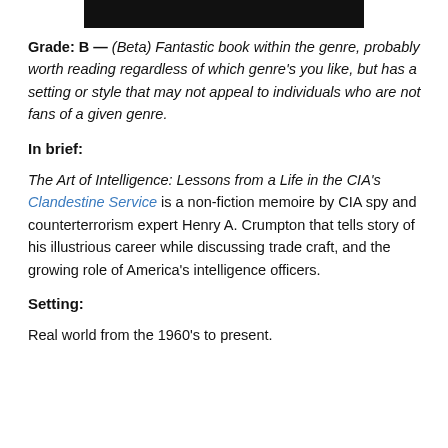[Figure (photo): Dark/black rectangular image at the top of the page, partially cropped]
Grade: B — (Beta) Fantastic book within the genre, probably worth reading regardless of which genre's you like, but has a setting or style that may not appeal to individuals who are not fans of a given genre.
In brief:
The Art of Intelligence: Lessons from a Life in the CIA's Clandestine Service is a non-fiction memoire by CIA spy and counterterrorism expert Henry A. Crumpton that tells story of his illustrious career while discussing trade craft, and the growing role of America's intelligence officers.
Setting:
Real world from the 1960's to present.